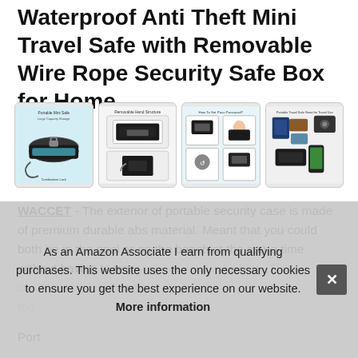Waterproof Anti Theft Mini Travel Safe with Removable Wire Rope Security Safe Box for Home
[Figure (photo): Four product thumbnail images of a waterproof portable travel safe/security case showing different angles and use cases: open safe with lock, safe with bracket, how to set password, and safe with travel accessories.]
WACCET - The exterior of portable security case is made of premium durable abs material. Meant that you could both be in the pool or on the beach at the same time without having to worry about your valuables. The combination lock keeps the safe secure and the...
As an Amazon Associate I earn from qualifying purchases. This website uses the only necessary cookies to ensure you get the best experience on our website. More information
Port